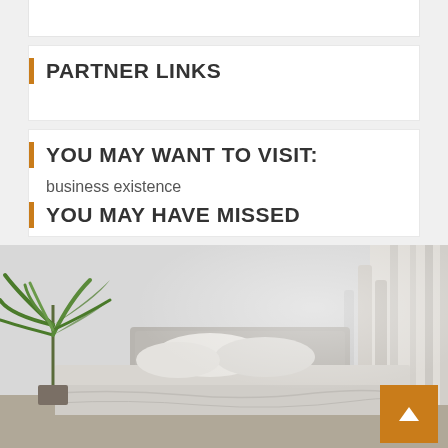PARTNER LINKS
YOU MAY WANT TO VISIT:
business existence
YOU MAY HAVE MISSED
[Figure (photo): Interior bedroom photo with white/grey bedding, grey upholstered headboard, white pillows, potted palm plant on the left, white curtains on the right, light grey walls.]